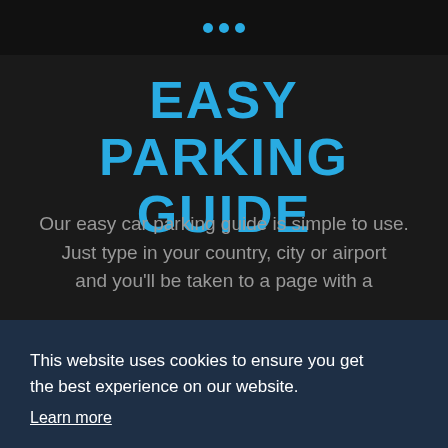EASY PARKING GUIDE
Our easy car parking guide is simple to use. Just type in your country, city or airport and you'll be taken to a page with a
This website uses cookies to ensure you get the best experience on our website.
Learn more
Got it!